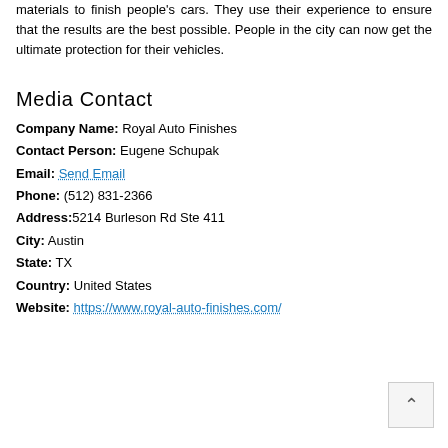materials to finish people's cars. They use their experience to ensure that the results are the best possible. People in the city can now get the ultimate protection for their vehicles.
Media Contact
Company Name: Royal Auto Finishes
Contact Person: Eugene Schupak
Email: Send Email
Phone: (512) 831-2366
Address:5214 Burleson Rd Ste 411
City: Austin
State: TX
Country: United States
Website: https://www.royal-auto-finishes.com/